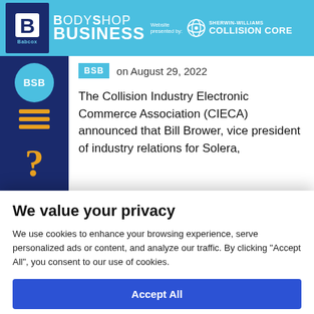BodyShop Business — Website presented by: Sherwin-Williams Collision Core
on August 29, 2022
The Collision Industry Electronic Commerce Association (CIECA) announced that Bill Brower, vice president of industry relations for Solera,
We value your privacy
We use cookies to enhance your browsing experience, serve personalized ads or content, and analyze our traffic. By clicking "Accept All", you consent to our use of cookies.
Accept All
Customize
Reject All